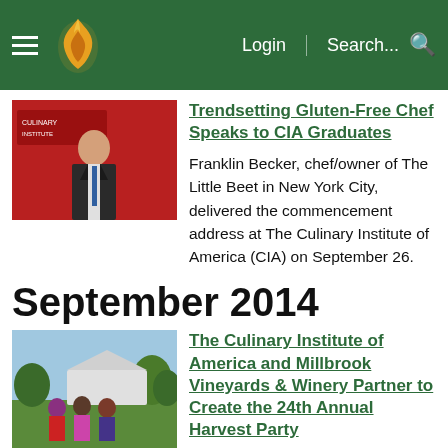Login | Search...
[Figure (photo): Photo of a man in a suit standing in front of a red background with text]
Trendsetting Gluten-Free Chef Speaks to CIA Graduates
Franklin Becker, chef/owner of The Little Beet in New York City, delivered the commencement address at The Culinary Institute of America (CIA) on September 26.
September 2014
[Figure (photo): Outdoor photo of a group of people at a vineyard or winery event]
The Culinary Institute of America and Millbrook Vineyards & Winery Partner to Create the 24th Annual Harvest Party
The world's premier culinary college and one of the Hudson Valley's best-known wineries are working together to produce Millbrook Vineyards & Winery's 24th Annual Harvest Party on Saturday, October 18.